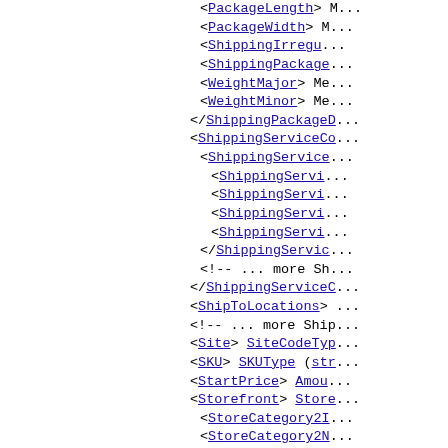XML API documentation snippet showing shipping and store XML element structure
<PackageLength> M...
<PackageWidth> M...
<ShippingIrregu...
<ShippingPackage...
<WeightMajor> Me...
<WeightMinor> Me...
</ShippingPackageD...
<ShippingServiceCo...
<ShippingService...
<ShippingServi...
<ShippingServi...
<ShippingServi...
<ShippingServi...
</ShippingServic...
<!-- ... more Sh...
</ShippingServiceC...
<ShipToLocations> ...
<!-- ... more Ship...
<Site> SiteCodeTyp...
<SKU> SKUType (str...
<StartPrice> Amou...
<Storefront> Store...
<StoreCategory2I...
<StoreCategory2N...
<StoreCategoryID...
<StoreCategoryNa...
</Storefront>
<SubTitle> string...
<TaxCategory> str...
<Title> string </...
<UseTaxTable> boo...